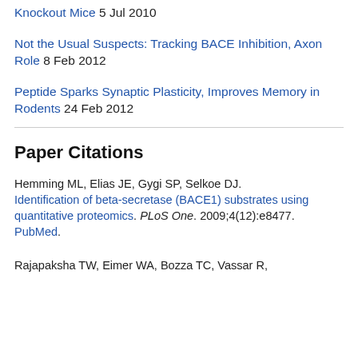Knockout Mice 5 Jul 2010
Not the Usual Suspects: Tracking BACE Inhibition, Axon Role 8 Feb 2012
Peptide Sparks Synaptic Plasticity, Improves Memory in Rodents 24 Feb 2012
Paper Citations
Hemming ML, Elias JE, Gygi SP, Selkoe DJ. Identification of beta-secretase (BACE1) substrates using quantitative proteomics. PLoS One. 2009;4(12):e8477. PubMed.
Rajapaksha TW, Eimer WA, Bozza TC, Vassar R,